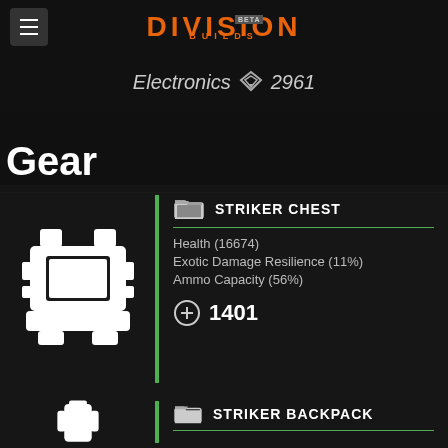DIVISION BUILDS BETA — Electronics 2961
Gear
STRIKER CHEST
Health (16674)
Exotic Damage Resilience (11%)
Ammo Capacity (56%)
1401
STRIKER BACKPACK